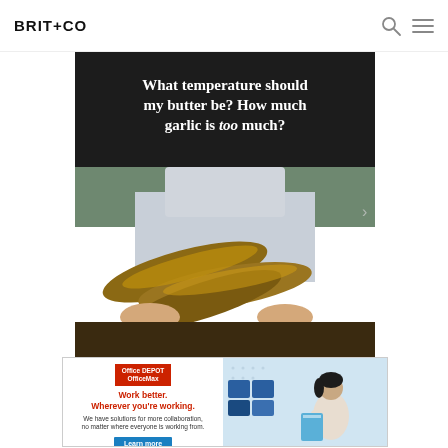BRIT+CO
[Figure (photo): Person in apron holding baguettes, with text overlay: 'What temperature should my butter be? How much garlic is too much?']
[Figure (photo): Office Depot OfficeMax advertisement: 'Work better. Wherever you're working. We have solutions for more collaboration, no matter where everyone is working from.' with Learn more button and person organizing files.]